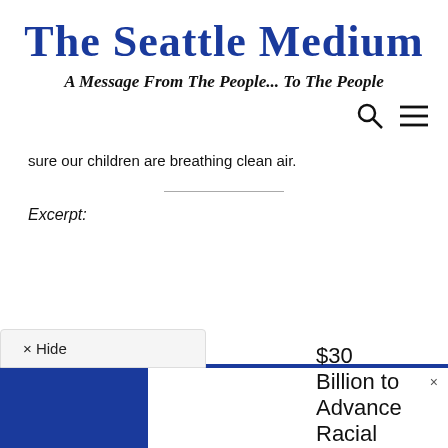The Seattle Medium
A Message From The People... To The People
sure our children are breathing clean air.
Excerpt:
× Hide
$30 Billion to Advance Racial Equity